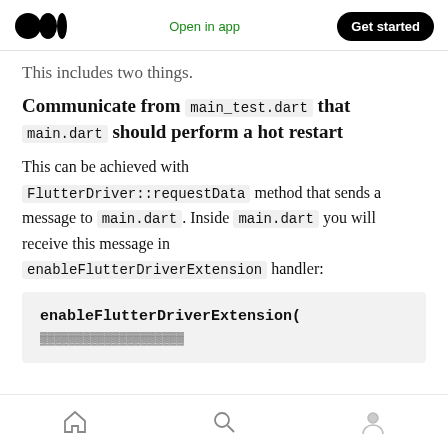Medium logo | Open in app | Get started
This includes two things.
Communicate from main_test.dart that main.dart should perform a hot restart
This can be achieved with FlutterDriver::requestData method that sends a message to main.dart. Inside main.dart you will receive this message in enableFlutterDriverExtension handler:
enableFlutterDriverExtension(
Home | Search | Profile